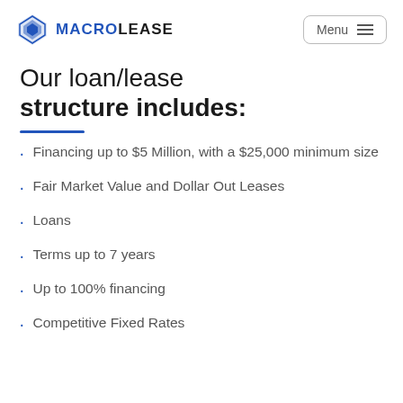MACROLEASE  Menu
Our loan/lease structure includes:
Financing up to $5 Million, with a $25,000 minimum size
Fair Market Value and Dollar Out Leases
Loans
Terms up to 7 years
Up to 100% financing
Competitive Fixed Rates